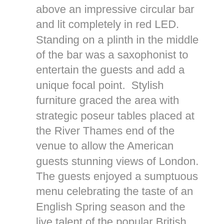above an impressive circular bar and lit completely in red LED.  Standing on a plinth in the middle of the bar was a saxophonist to entertain the guests and add a unique focal point.  Stylish furniture graced the area with strategic poseur tables placed at the River Thames end of the venue to allow the American guests stunning views of London.  The guests enjoyed a sumptuous menu celebrating the taste of an English Spring season and the live talent of the popular British opera singer Russell Watson.  As well as speeches and corporate videos to engage the guests, a charity auction was held.  AON work in partnership with the charity Find A Better Way.  Before the entertaining, fast paced auction, Stuart Hughes who is a senior world affairs producer with BBC News, presented a talk to the guests about his personal experience and encounter with a landmine,